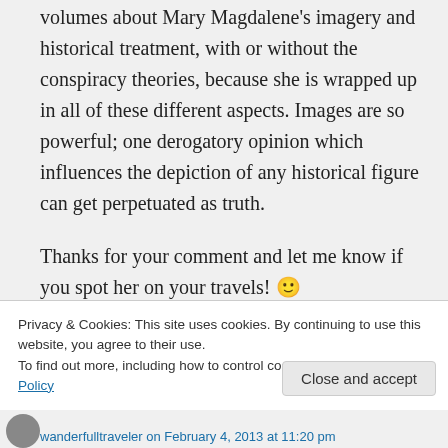volumes about Mary Magdalene's imagery and historical treatment, with or without the conspiracy theories, because she is wrapped up in all of these different aspects. Images are so powerful; one derogatory opinion which influences the depiction of any historical figure can get perpetuated as truth.

Thanks for your comment and let me know if you spot her on your travels! 🙂
Privacy & Cookies: This site uses cookies. By continuing to use this website, you agree to their use.
To find out more, including how to control cookies, see here: Cookie Policy
Close and accept
wanderfulltraveler on February 4, 2013 at 11:20 pm